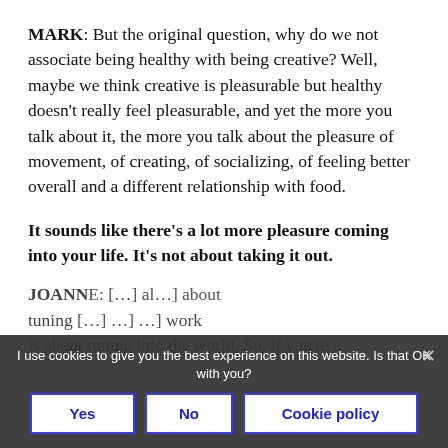MARK: But the original question, why do we not associate being healthy with being creative? Well, maybe we think creative is pleasurable but healthy doesn't really feel pleasurable, and yet the more you talk about it, the more you talk about the pleasure of movement, of creating, of socializing, of feeling better overall and a different relationship with food.
It sounds like there's a lot more pleasure coming into your life. It's not about taking it out.
JOANNE: [partially obscured] about tuning [obscured] work is about tuning into the world. So, if you're a
I use cookies to give you the best experience on this website. Is that OK with you?